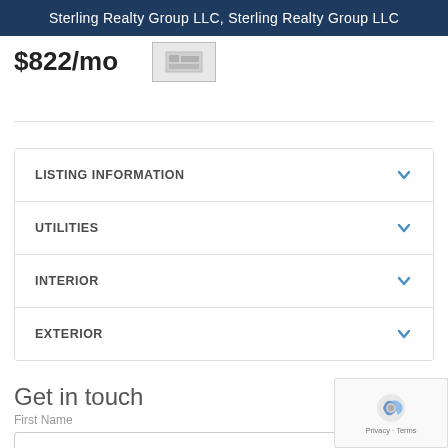Sterling Realty Group LLC, Sterling Realty Group LLC
$822/mo
LISTING INFORMATION
UTILITIES
INTERIOR
EXTERIOR
Get in touch
First Name